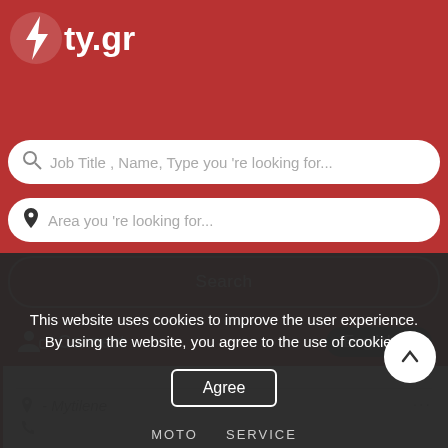[Figure (logo): 4ty.gr website logo with lightning bolt icon on red background]
Job Title , Name, Type you 're looking for...
Area you 're looking for...
Search
Connect
English
- Mytilene
This website uses cookies to improve the user experience. By using the website, you agree to the use of cookies.
Agree
MOTO... SERVICE